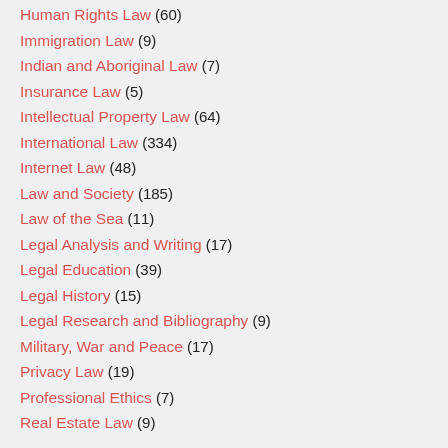Human Rights Law (60)
Immigration Law (9)
Indian and Aboriginal Law (7)
Insurance Law (5)
Intellectual Property Law (64)
International Law (334)
Internet Law (48)
Law and Society (185)
Law of the Sea (11)
Legal Analysis and Writing (17)
Legal Education (39)
Legal History (15)
Legal Research and Bibliography (9)
Military, War and Peace (17)
Privacy Law (19)
Professional Ethics (7)
Real Estate Law (9)